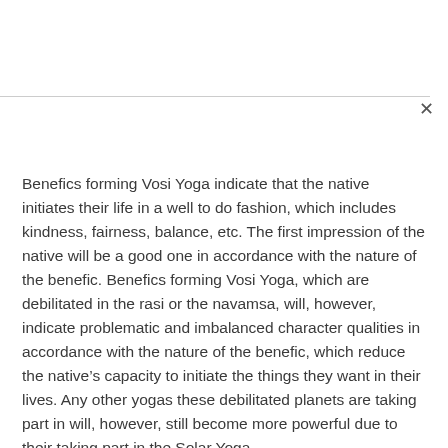Benefics forming Vosi Yoga indicate that the native initiates their life in a well to do fashion, which includes kindness, fairness, balance, etc. The first impression of the native will be a good one in accordance with the nature of the benefic. Benefics forming Vosi Yoga, which are debilitated in the rasi or the navamsa, will, however, indicate problematic and imbalanced character qualities in accordance with the nature of the benefic, which reduce the native's capacity to initiate the things they want in their lives. Any other yogas these debilitated planets are taking part in will, however, still become more powerful due to their taking part in the Solar Yoga.